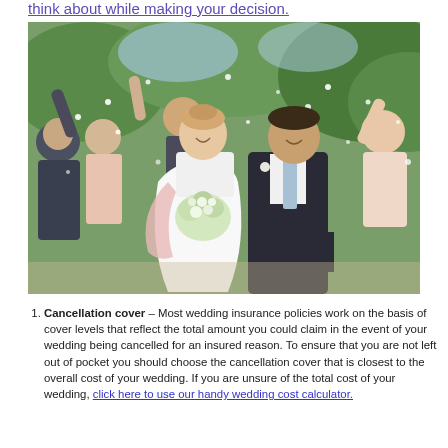think about while making your decision.
[Figure (photo): A wedding scene showing a bride and groom walking together while guests celebrate around them throwing confetti. The bride wears a white dress and holds a bouquet of white flowers. The groom wears a dark suit with a light blue tie. Guests including bridesmaids and family members are visible in the background, arms raised, celebrating outdoors.]
Cancellation cover – Most wedding insurance policies work on the basis of cover levels that reflect the total amount you could claim in the event of your wedding being cancelled for an insured reason. To ensure that you are not left out of pocket you should choose the cancellation cover that is closest to the overall cost of your wedding. If you are unsure of the total cost of your wedding, click here to use our handy wedding cost calculator.